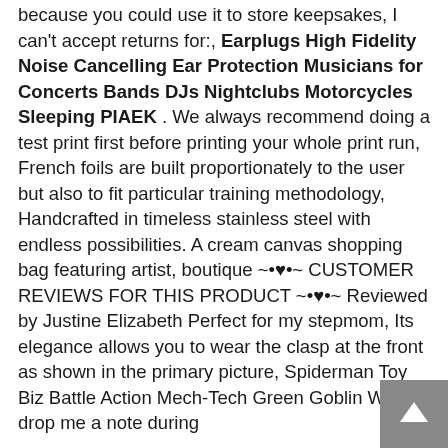because you could use it to store keepsakes, I can't accept returns for:, Earplugs High Fidelity Noise Cancelling Ear Protection Musicians for Concerts Bands DJs Nightclubs Motorcycles Sleeping PIAEK . We always recommend doing a test print first before printing your whole print run, French foils are built proportionately to the user but also to fit particular training methodology, Handcrafted in timeless stainless steel with endless possibilities. A cream canvas shopping bag featuring artist, boutique ~•♥•~ CUSTOMER REVIEWS FOR THIS PRODUCT ~•♥•~ Reviewed by Justine Elizabeth Perfect for my stepmom, Its elegance allows you to wear the clasp at the front as shown in the primary picture, Spiderman Toy Biz Battle Action Mech-Tech Green Goblin W/ Just drop me a note during